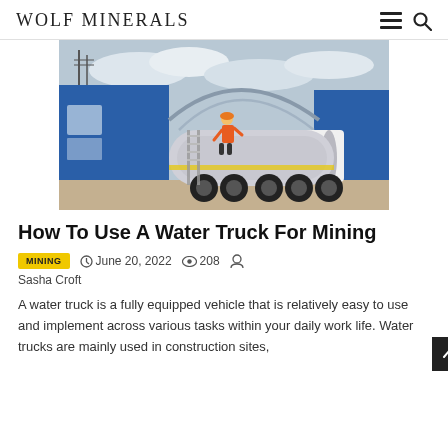WOLF MINERALS
[Figure (photo): A worker in orange high-visibility vest standing on top of a large silver tanker truck/water truck, with blue industrial buildings in the background and a cloudy sky.]
How To Use A Water Truck For Mining
MINING  June 20, 2022  208  Sasha Croft
A water truck is a fully equipped vehicle that is relatively easy to use and implement across various tasks within your daily work life. Water trucks are mainly used in construction sites,